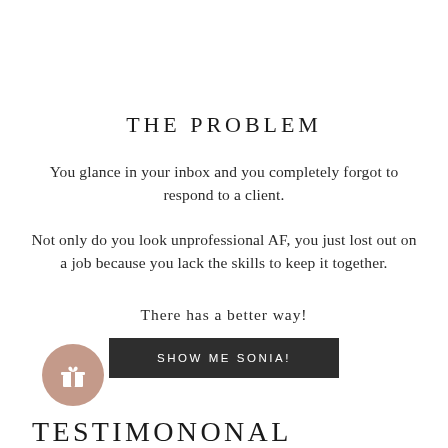THE PROBLEM
You glance in your inbox and you completely forgot to respond to a client.
Not only do you look unprofessional AF, you just lost out on a job because you lack the skills to keep it together.
There has a better way!
SHOW ME SONIA!
[Figure (illustration): A mauve/dusty rose circle icon with a gift/present icon inside]
TESTIMONIAL